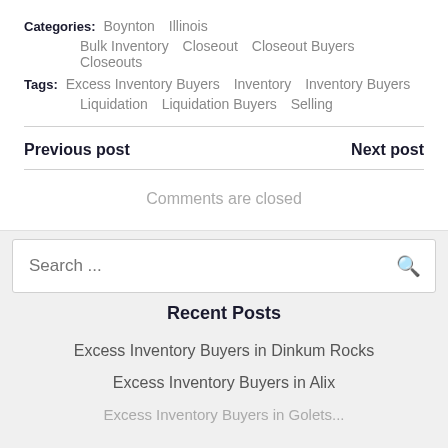Categories: Boynton  Illinois  Bulk Inventory  Closeout  Closeout Buyers  Closeouts
Tags: Excess Inventory Buyers  Inventory  Inventory Buyers  Liquidation  Liquidation Buyers  Selling
Previous post
Next post
Comments are closed
Search ...
Recent Posts
Excess Inventory Buyers in Dinkum Rocks
Excess Inventory Buyers in Alix
Excess Inventory Buyers in Golets...